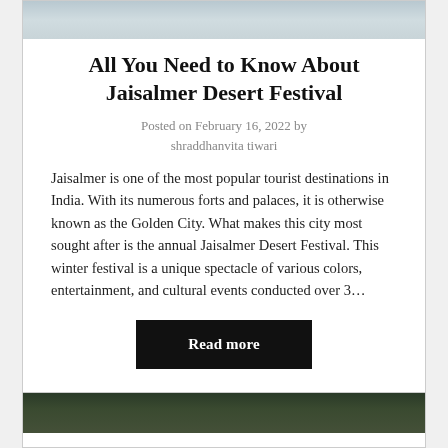[Figure (photo): Hero image at top of article card, showing a grayish-blue water/sky scene]
All You Need to Know About Jaisalmer Desert Festival
Posted on February 16, 2022 by shraddhanvita tiwari
Jaisalmer is one of the most popular tourist destinations in India. With its numerous forts and palaces, it is otherwise known as the Golden City. What makes this city most sought after is the annual Jaisalmer Desert Festival.  This winter festival is a unique spectacle of various colors, entertainment, and cultural events conducted over 3…
Read more
[Figure (photo): Partial hero image at bottom of page showing dark green foliage scene for a second article card]